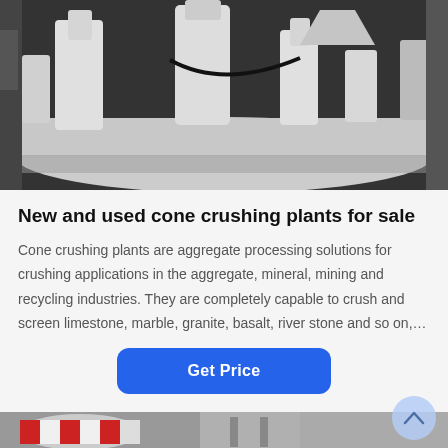[Figure (photo): Industrial cone crushing machine component — white-painted heavy mechanical assembly with cylindrical elements on a large base, shown in black and white.]
New and used cone crushing plants for sale
Cone crushing plants are aggregate processing solutions for crushing applications in the aggregate, mineral, mining and recycling industries. They are completely capable to crush and screen limestone, marble, granite, basalt, river stone and so on,…
[Figure (photo): Partial view of colorful industrial machinery — red and white patterned rolling equipment visible at the bottom of the page.]
Leave Message   Chat Online